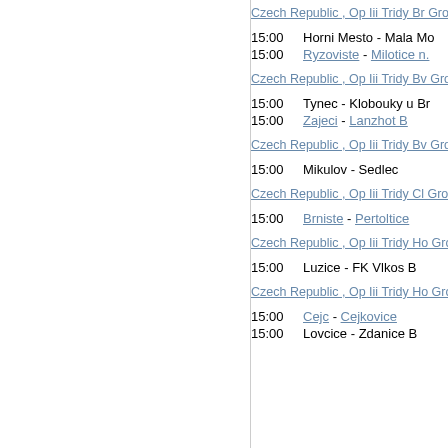Czech Republic , Op Iii Tridy Br Group B
15:00   Horni Mesto - Mala Mo...
15:00   Ryzoviste - Milotice n...
Czech Republic , Op Iii Tridy Bv Group A
15:00   Tynec - Klobouky u Br...
15:00   Zajeci - Lanzhot B
Czech Republic , Op Iii Tridy Bv Group B
15:00   Mikulov - Sedlec...
Czech Republic , Op Iii Tridy Cl Group A
15:00   Brniste - Pertoltice...
Czech Republic , Op Iii Tridy Ho Group A
15:00   Luzice - FK Vlkos B...
Czech Republic , Op Iii Tridy Ho Group B
15:00   Cejc - Cejkovice...
15:00   Lovcice - Zdanice B...